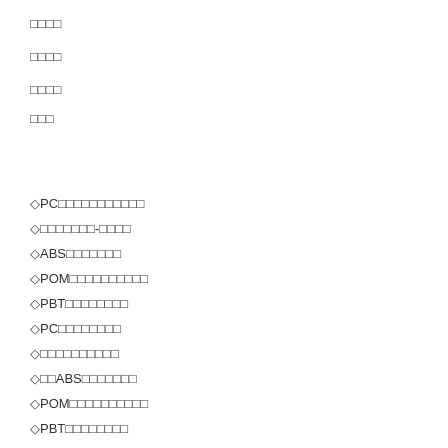□□□□
□□□□
□□□□
□□□
◇PC□□□□□□□□□□□
◇□□□□□□□-□□□□
◇ABS□□□□□□□
◇POM□□□□□□□□□□
◇PBT□□□□□□□□
◇PC□□□□□□□□
◇□□□□□□□□□□
◇□□ABS□□□□□□□
◇POM□□□□□□□□□□
◇PBT□□□□□□□□
PLEXIGLAS® Hi-Gloss NTA-1
PLEXIGLAS® Hi-Gloss NTA-3
PLEXIGLAS® Hi-Gloss NTX-15
PLEXIGLAS® Hi-Gloss NTX-8
PLEXIGLAS® Optical Product informati…
PLEXIGLAS® Optical POQ62
PLEXIGLAS® Optical POQ64
PLEXIGLAS® Optical POQ66
PLEXIGLAS® Solar Product information…
PLEXIGLAS® Solar 0Z023
PLEXIGLAS® Solar IM20
PLEXIMID® Product information
PLEXIMID® TT50
PLEXIMID® TT70